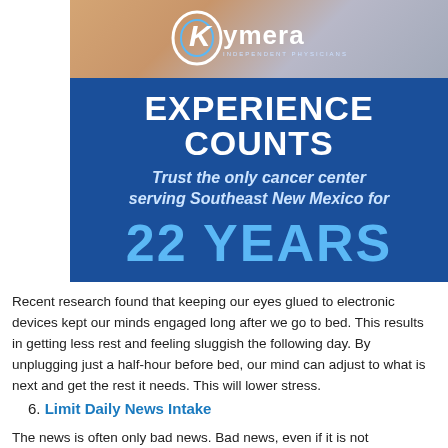[Figure (illustration): Kymera Independent Physicians advertisement with blue background showing 'EXPERIENCE COUNTS - Trust the only cancer center serving Southeast New Mexico for 22 YEARS']
Recent research found that keeping our eyes glued to electronic devices kept our minds engaged long after we go to bed. This results in getting less rest and feeling sluggish the following day. By unplugging just a half-hour before bed, our mind can adjust to what is next and get the rest it needs. This will lower stress.
6. Limit Daily News Intake
The news is often only bad news. Bad news, even if it is not